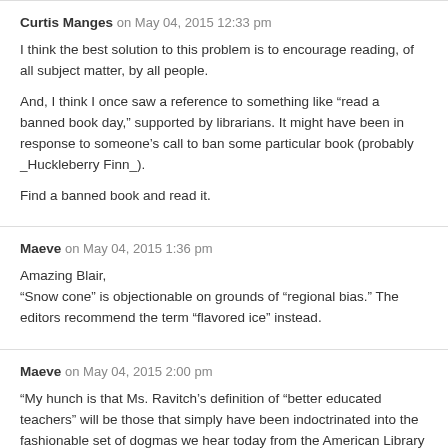Curtis Manges on May 04, 2015 12:33 pm
I think the best solution to this problem is to encourage reading, of all subject matter, by all people.
And, I think I once saw a reference to something like “read a banned book day,” supported by librarians. It might have been in response to someone’s call to ban some particular book (probably _Huckleberry Finn_).
Find a banned book and read it.
Maeve on May 04, 2015 1:36 pm
Amazing Blair,
“Snow cone” is objectionable on grounds of “regional bias.” The editors recommend the term “flavored ice” instead.
Maeve on May 04, 2015 2:00 pm
“My hunch is that Ms. Ravitch’s definition of “better educated teachers” will be those that simply have been indoctrinated into the fashionable set of dogmas we hear today from the American Library Association